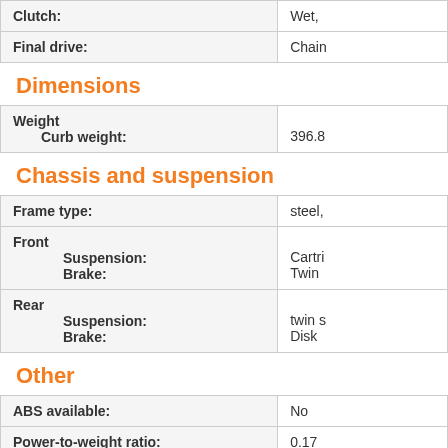| Clutch: | Wet, |
| Final drive: | Chain |
Dimensions
| Weight
  Curb weight: | 396.8 |
Chassis and suspension
| Frame type: | steel, |
| Front
  Suspension:
  Brake: | Cartri
Twin |
| Rear
  Suspension:
  Brake: | twin s
Disk |
Other
| ABS available: | No |
| Power-to-weight ratio: | 0.17 |
| Top speed: | 96.31 |